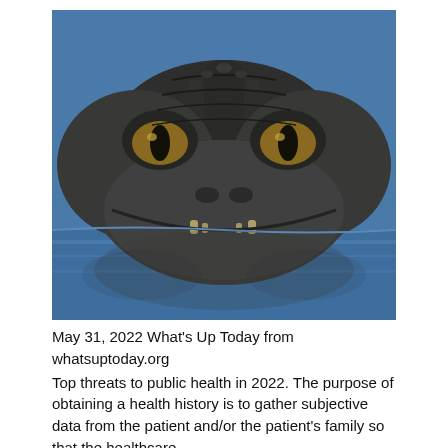[Figure (photo): Close-up photograph of an alligator's head partially submerged in blue water, showing its textured dark grey-brown scaly skin, prominent eyes with golden irises, and the top of its snout facing the camera directly.]
May 31, 2022 What's Up Today from whatsuptoday.org
Top threats to public health in 2022. The purpose of obtaining a health history is to gather subjective data from the patient and/or the patient's family so that the healthcare...